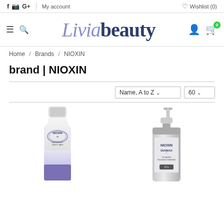f  IG  G+  My account    Wishlist (0)
Liviabeauty
Home / Brands / NIOXIN
brand | NIOXIN
Name, A to Z  60
[Figure (photo): NIOXIN hair product tube (3D mask / density mask), white and purple gradient packaging]
[Figure (photo): NIOXIN DIAMAX volumizing thickening treatment bottle with pump, silver/white packaging]